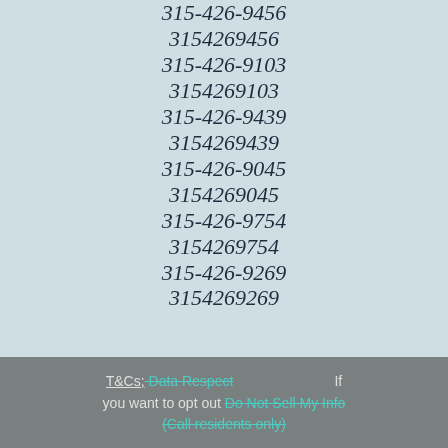315-426-9456
3154269456
315-426-9103
3154269103
315-426-9439
3154269439
315-426-9045
3154269045
315-426-9754
3154269754
315-426-9269
3154269269
T&Cs; Data Respect If you want to opt out Do Not Sell My Info (Call residents only)